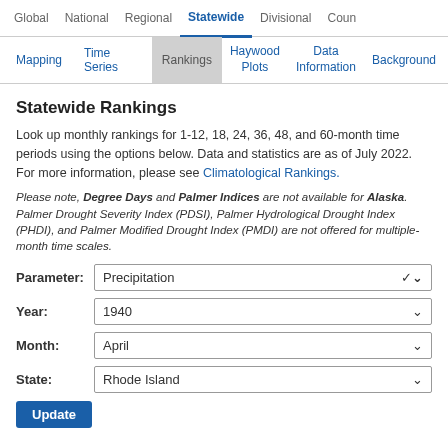Global  National  Regional  Statewide  Divisional  Coun
Mapping  Time Series  Rankings  Haywood Plots  Data Information  Background
Statewide Rankings
Look up monthly rankings for 1-12, 18, 24, 36, 48, and 60-month time periods using the options below. Data and statistics are as of July 2022. For more information, please see Climatological Rankings.
Please note, Degree Days and Palmer Indices are not available for Alaska. Palmer Drought Severity Index (PDSI), Palmer Hydrological Drought Index (PHDI), and Palmer Modified Drought Index (PMDI) are not offered for multiple-month time scales.
Parameter: Precipitation
Year: 1940
Month: April
State: Rhode Island
Update